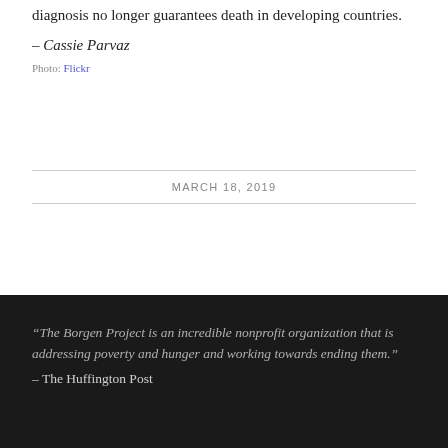diagnosis no longer guarantees death in developing countries.
– Cassie Parvaz
Photo: Flickr
MARCH 18, 2019
“The Borgen Project is an incredible nonprofit organization that is addressing poverty and hunger and working towards ending them.”
– The Huffington Post